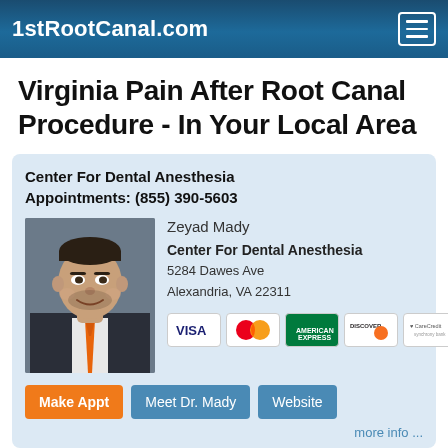1stRootCanal.com
Virginia Pain After Root Canal Procedure - In Your Local Area
Center For Dental Anesthesia
Appointments: (855) 390-5603
[Figure (photo): Headshot of Dr. Zeyad Mady, a man in a dark suit with an orange tie, smiling, against a grey background.]
Zeyad Mady
Center For Dental Anesthesia
5284 Dawes Ave
Alexandria, VA 22311
[Figure (other): Payment method icons: Visa, MasterCard, American Express, Discover, CareCredit]
Make Appt  Meet Dr. Mady  Website
more info ...